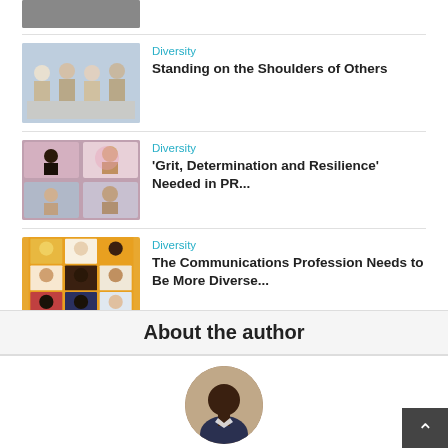[Figure (photo): Partially visible top article thumbnail]
[Figure (photo): Business meeting with diverse group]
Diversity
Standing on the Shoulders of Others
[Figure (photo): Video call grid with multiple participants]
Diversity
'Grit, Determination and Resilience' Needed in PR...
[Figure (photo): Grid of diverse people portraits on orange background]
Diversity
The Communications Profession Needs to Be More Diverse...
About the author
[Figure (photo): Circular portrait photo of a Black man in professional attire]